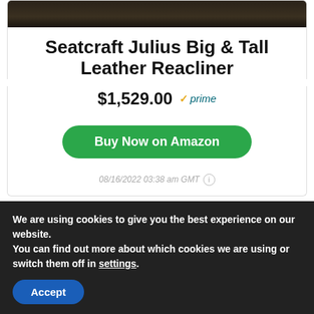[Figure (photo): Partial view of a dark leather recliner chair, cropped at the top]
Seatcraft Julius Big & Tall Leather Reacliner
$1,529.00 ✓prime
Buy Now on Amazon
08/16/2022 03:38 am GMT ℹ
Table of Contents
1. 1. Modern Sofa Leather Wingback Recliner Chair
We are using cookies to give you the best experience on our website.
You can find out more about which cookies we are using or switch them off in settings.
Accept